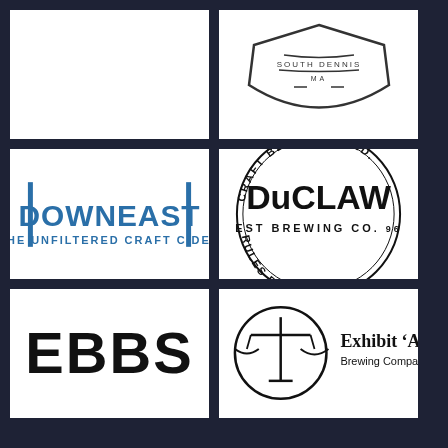[Figure (logo): Partial logo - white cell, top of a brewery logo (South Dennis MA shield shape, partially cropped)]
[Figure (logo): Partial logo - white cell, bottom of a shield/badge brewery logo showing 'SOUTH DENNIS MA']
[Figure (logo): Downeast - THE UNFILTERED CRAFT CIDER logo in teal/blue with vertical bars on left and right]
[Figure (logo): DuClaw Brewing Co. circular badge logo with text 'CRAFT BE CHERISHED.' at top and 'RULES BE DAMNED.' at bottom, EST 96]
[Figure (logo): EBBS logo in bold black block letters]
[Figure (logo): Exhibit 'A' Brewing Company logo with scales of justice icon in circle]